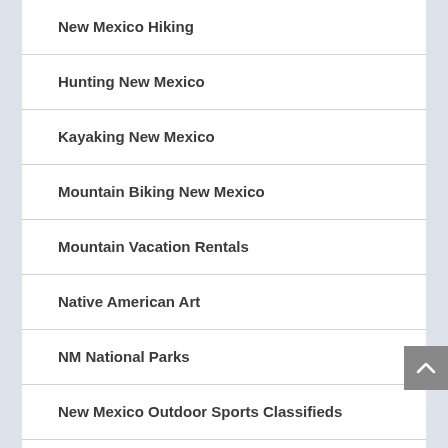New Mexico Hiking
Hunting New Mexico
Kayaking New Mexico
Mountain Biking New Mexico
Mountain Vacation Rentals
Native American Art
NM National Parks
New Mexico Outdoor Sports Classifieds
Sporting Goods